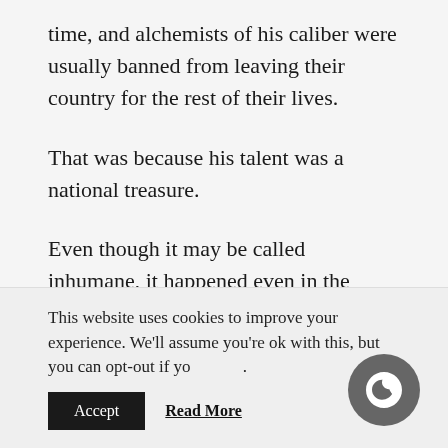time, and alchemists of his caliber were usually banned from leaving their country for the rest of their lives.
That was because his talent was a national treasure.
Even though it may be called inhumane, it happened even in the Kingdom that was said to be quite lenient… compared to the Empire.
That such talent was in an enemy country and at the center of weapons development was….
This website uses cookies to improve your experience. We'll assume you're ok with this, but you can opt-out if you wish.